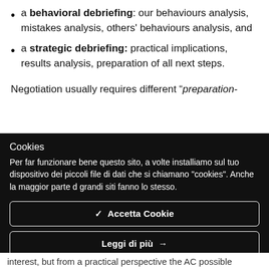a behavioral debriefing: our behaviours analysis, mistakes analysis, others' behaviours analysis, and
a strategic debriefing: practical implications, results analysis, preparation of all next steps.
Negotiation usually requires different “preparation-
Cookies
Per far funzionare bene questo sito, a volte installiamo sul tuo dispositivo dei piccoli file di dati che si chiamano "cookies". Anche la maggior parte dei grandi siti fanno lo stesso.
✓  Accetta Cookie
Leggi di più  →
Impostazioni Cookie  ⚙
interest, but from a practical perspective the AC possible